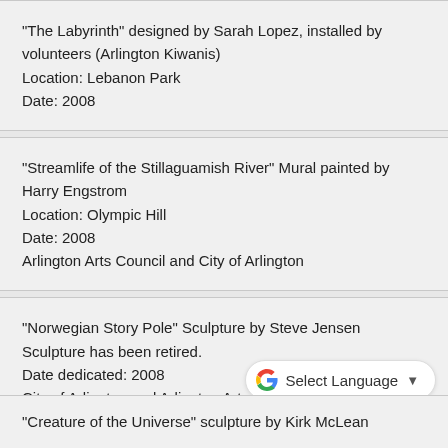"The Labyrinth" designed by Sarah Lopez, installed by volunteers (Arlington Kiwanis)
Location: Lebanon Park
Date: 2008
"Streamlife of the Stillaguamish River" Mural painted by Harry Engstrom
Location: Olympic Hill
Date: 2008
Arlington Arts Council and City of Arlington
"Norwegian Story Pole" Sculpture by Steve Jensen
Sculpture has been retired.
Date dedicated: 2008
City of Arlington and Arlington Arts Council
"Creature of the Universe" sculpture by Kirk McLean